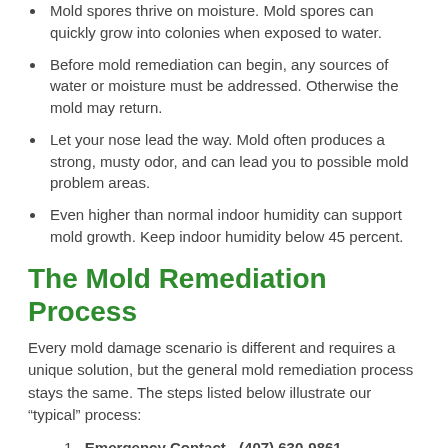Mold spores thrive on moisture. Mold spores can quickly grow into colonies when exposed to water.
Before mold remediation can begin, any sources of water or moisture must be addressed. Otherwise the mold may return.
Let your nose lead the way. Mold often produces a strong, musty odor, and can lead you to possible mold problem areas.
Even higher than normal indoor humidity can support mold growth. Keep indoor humidity below 45 percent.
The Mold Remediation Process
Every mold damage scenario is different and requires a unique solution, but the general mold remediation process stays the same. The steps listed below illustrate our “typical” process:
Emergency Contact - (407) 630-9861
The mold cleanup and restoration process begins when you call us. Our representative will ask a series of questions to help us determine the necessary equipment, resources, and personnel.